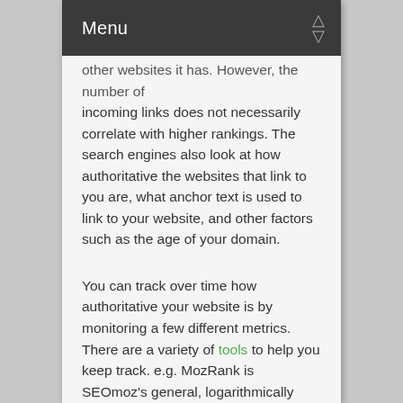Menu
other websites it has. However, the number of incoming links does not necessarily correlate with higher rankings. The search engines also look at how authoritative the websites that link to you are, what anchor text is used to link to your website, and other factors such as the age of your domain.
You can track over time how authoritative your website is by monitoring a few different metrics. There are a variety of tools to help you keep track. e.g. MozRank is SEOmoz's general, logarithmically scaled 10-point measure of global link authority or popularity. It is very similar in purpose to the measures of link importance used by the search engines (e.g., Google's PageRank).